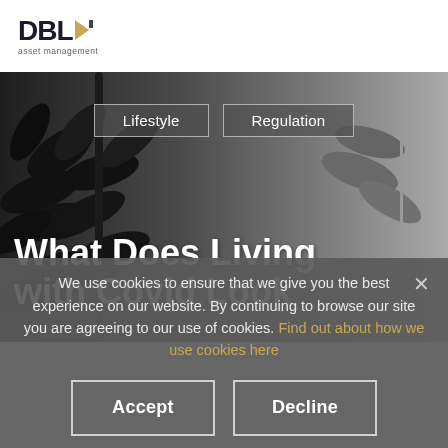[Figure (logo): DBL Asset Management logo with arrow icon and 'asset management' subtitle]
[Figure (photo): Hero background image with dark plant silhouette and grey tones showing website header with 'Lifestyle' and 'Regulation' category tags and title 'What Does Living with Covid Look']
We use cookies to ensure that we give you the best experience on our website. By continuing to browse our site you are agreeing to our use of cookies. Find out about how we use cookies here
Accept   Decline